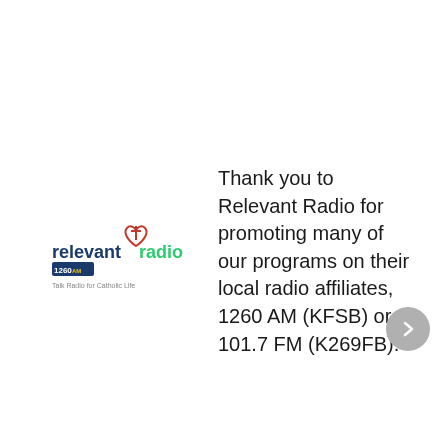[Figure (logo): Relevant Radio logo: text 'relevant radio' with a cross/heart icon above, '1260AM' badge, and tagline 'Talk Radio for Catholic Life']
Thank you to Relevant Radio for promoting many of our programs on their local radio affiliates, 1260 AM (KFSB) or 101.7 FM (K269FB).